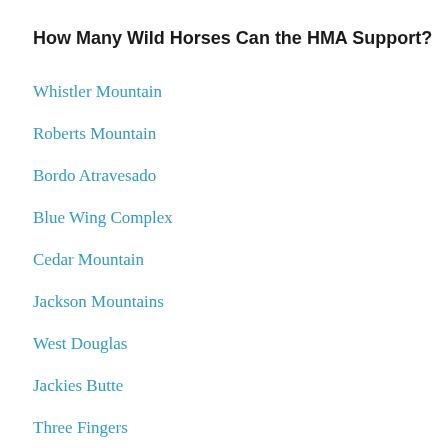How Many Wild Horses Can the HMA Support?
Whistler Mountain
Roberts Mountain
Bordo Atravesado
Blue Wing Complex
Cedar Mountain
Jackson Mountains
West Douglas
Jackies Butte
Three Fingers